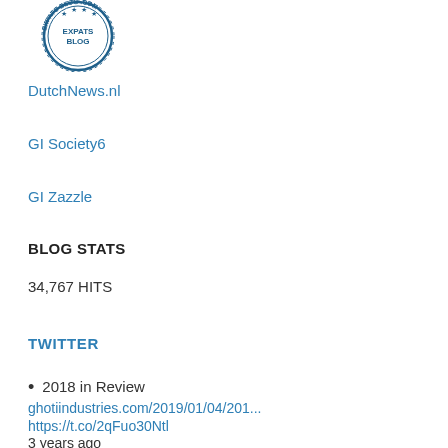[Figure (logo): Expats Blog .com circular badge/seal logo in dark blue]
DutchNews.nl
GI Society6
GI Zazzle
BLOG STATS
34,767 HITS
TWITTER
2018 in Review ghotiindustries.com/2019/01/04/201... https://t.co/2qFuo30Ntl 3 years ago